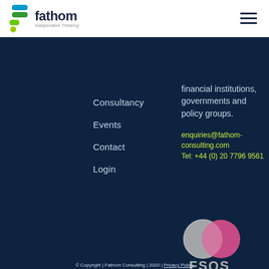[Figure (logo): Fathom Independent Thinking logo with colorful stacked shapes icon in green, blue, and yellow-green]
Consultancy
Events
Contact
Login
financial institutions, governments and policy groups.
enquiries@fathom-consulting.com
Tel: +44 (0) 20 7796 9561
[Figure (logo): FSQS logo with two overlapping circles in grey and pink above the text FSQS]
© Copyright | Fathom Consulting | 2020 | Privacy Policy